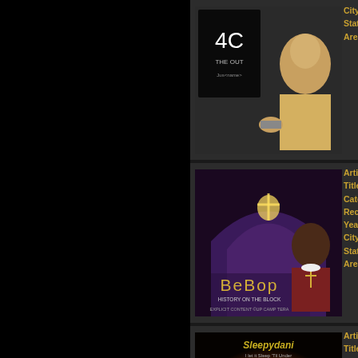[Figure (photo): Album cover - top entry partially visible, rap artist]
City: Vallejo
State: California
Area Code:
[Figure (photo): Album cover - BeBop, History on the Block]
Artist: BeBop
Title: Histo...
Category:
Record Label:
Year: 2005
City: Vallejo
State: California
Area Code:
[Figure (photo): Album cover - Sleepydani, Hot Shit]
Artist: Slee...
Title: Hot S...
Category:
Record Label:
Year: 2005
City: Vallejo
State: California
Area Code:
[Figure (photo): Album cover - Smoove, Long...]
Artist: Smo...
Title: Long...